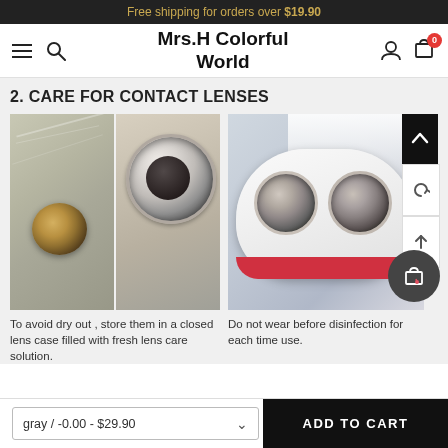Free shipping for orders over $19.90
Mrs.H Colorful World
2. CARE FOR CONTACT LENSES
[Figure (photo): Two photos side by side: left shows a contact lens on a surface and a contact lens in a case cap; right shows two contact lenses in a white lens case.]
To avoid dry out , store them in a closed lens case filled with fresh lens care solution.
Do not wear before disinfection for each time use.
gray / -0.00 - $29.90
ADD TO CART